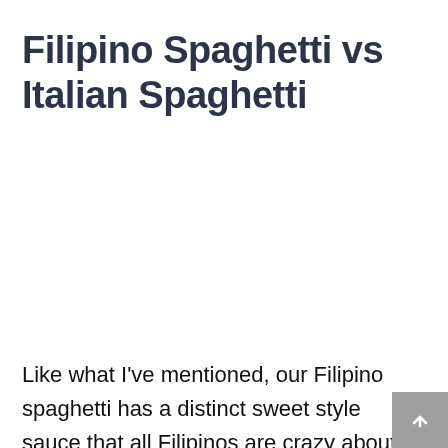Filipino Spaghetti vs Italian Spaghetti
Like what I've mentioned, our Filipino spaghetti has a distinct sweet style sauce that all Filipinos are crazy about. Italian spaghetti sauce uses tomato sauce so